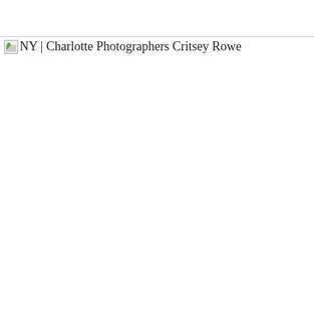NY | Charlotte Photographers Critsey Rowe